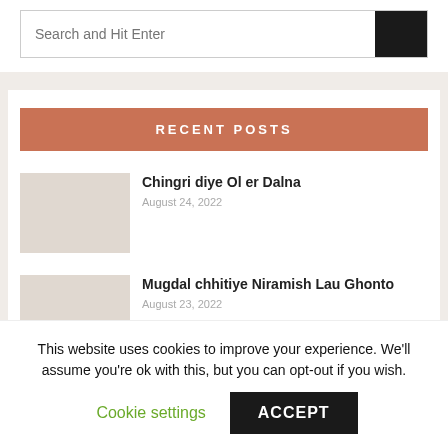Search and Hit Enter
RECENT POSTS
Chingri diye Ol er Dalna
August 24, 2022
Mugdal chhitiye Niramish Lau Ghonto
August 23, 2022
This website uses cookies to improve your experience. We'll assume you're ok with this, but you can opt-out if you wish.
Cookie settings
ACCEPT